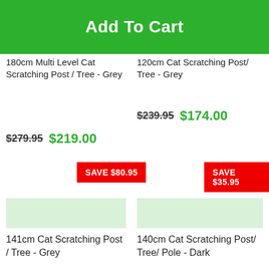[Figure (screenshot): Green banner with Add To Cart text and two product images of cat scratching posts]
180cm Multi Level Cat Scratching Post / Tree - Grey
120cm Cat Scratching Post/ Tree - Grey
$279.95 $219.00
$239.95 $174.00
SAVE $80.95
SAVE $35.95
141cm Cat Scratching Post / Tree - Grey
140cm Cat Scratching Post/ Tree/ Pole - Dark